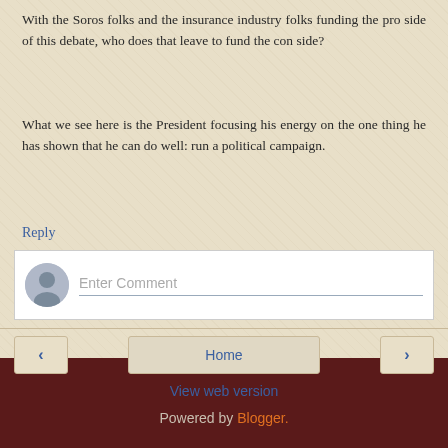With the Soros folks and the insurance industry folks funding the pro side of this debate, who does that leave to fund the con side?
What we see here is the President focusing his energy on the one thing he has shown that he can do well: run a political campaign.
Reply
[Figure (screenshot): Comment entry box with avatar icon and 'Enter Comment' placeholder text]
Home
View web version
Powered by Blogger.